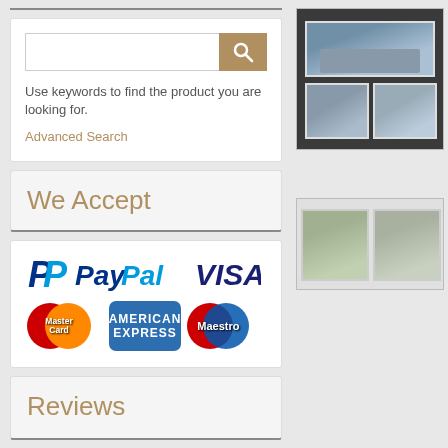Use keywords to find the product you are looking for.
Advanced Search
We Accept
[Figure (logo): Payment method logos: PayPal, VISA, MasterCard, American Express, Maestro]
Reviews
[Figure (photo): Postage stamps showing ships on dark background]
[Figure (photo): Postage stamps showing people scenes]